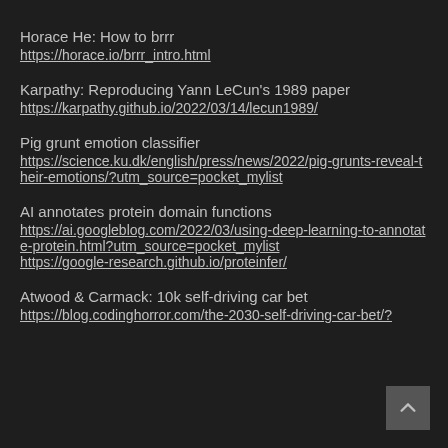Horace He: How to brrr
https://horace.io/brrr_intro.html
Karpathy: Reproducing Yann LeCun's 1989 paper
https://karpathy.github.io/2022/03/14/lecun1989/
Pig grunt emotion classifier
https://science.ku.dk/english/press/news/2022/pig-grunts-reveal-their-emotions/?utm_source=pocket_mylist
AI annotates protein domain functions
https://ai.googleblog.com/2022/03/using-deep-learning-to-annotate-protein.html?utm_source=pocket_mylist
https://google-research.github.io/proteinfer/
Atwood & Carmack: 10k self-driving car bet
https://blog.codinghorror.com/the-2030-self-driving-car-bet/?